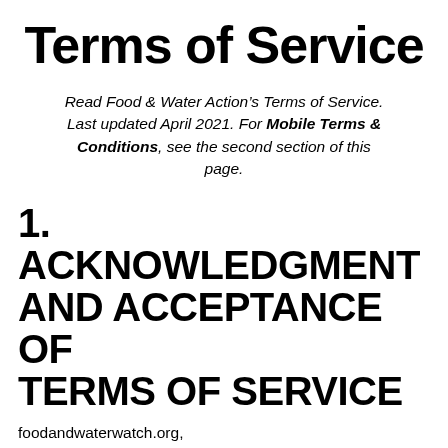Terms of Service
Read Food & Water Action's Terms of Service. Last updated April 2021. For Mobile Terms & Conditions, see the second section of this page.
1. ACKNOWLEDGMENT AND ACCEPTANCE OF TERMS OF SERVICE
foodandwaterwatch.org, foodandwatereurope.org,